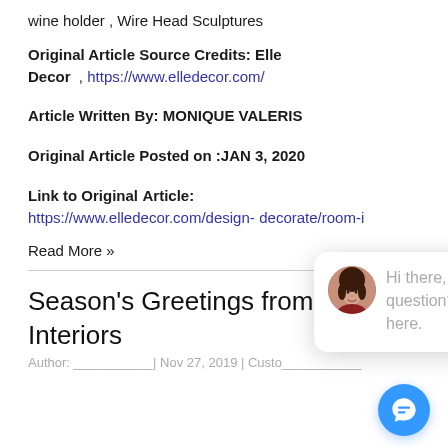wine holder , Wire Head Sculptures
Original Article Source Credits: Elle Decor , https://www.elledecor.com/
Article Written By: MONIQUE VALERIS
Original Article Posted on :JAN 3, 2020
Link to Original Article: https://www.elledecor.com/design-decorate/room-i
Read More »
[Figure (screenshot): Chat widget popup with close button, avatar photo, and message: Hi there, have a question? Text us here.]
Season's Greetings from Flaunt Interiors
Author line (partially visible)